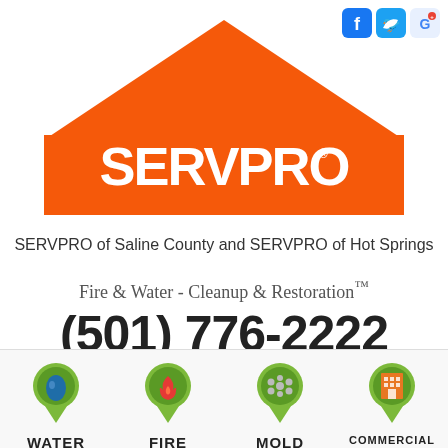[Figure (logo): SERVPRO logo with orange house/roof shape and white SERVPRO text]
SERVPRO of Saline County and SERVPRO of Hot Springs
Fire & Water - Cleanup & Restoration™
(501) 776-2222
[Figure (infographic): REQUEST HELP ONLINE button with monitor icon]
[Figure (infographic): Green hamburger menu button]
[Figure (infographic): Social media icons: Facebook, Twitter, Google]
[Figure (infographic): Service icons row: WATER (water drop), FIRE (flame), MOLD (spores), COMMERCIAL (building)]
WATER
FIRE
MOLD
COMMERCIAL